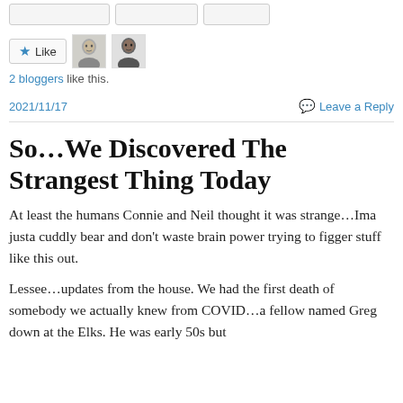[Figure (other): Top partial UI buttons row (partially visible, cropped)]
[Figure (other): Like button with star icon and two blogger avatar thumbnails]
2 bloggers like this.
2021/11/17
Leave a Reply
So…We Discovered The Strangest Thing Today
At least the humans Connie and Neil thought it was strange…Ima justa cuddly bear and don't waste brain power trying to figger stuff like this out.
Lessee…updates from the house. We had the first death of somebody we actually knew from COVID…a fellow named Greg down at the Elks. He was early 50s but